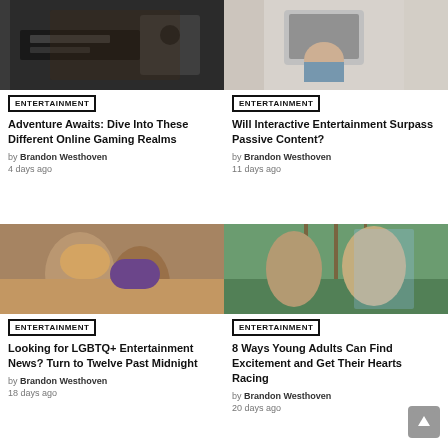[Figure (photo): Person at gaming setup, dark background with equipment]
ENTERTAINMENT
Adventure Awaits: Dive Into These Different Online Gaming Realms
by Brandon Westhoven
4 days ago
[Figure (photo): Person working on laptop, white brick wall background]
ENTERTAINMENT
Will Interactive Entertainment Surpass Passive Content?
by Brandon Westhoven
11 days ago
[Figure (photo): Two women laughing and hugging on sofa indoors]
ENTERTAINMENT
Looking for LGBTQ+ Entertainment News? Turn to Twelve Past Midnight
by Brandon Westhoven
18 days ago
[Figure (photo): Two young women with sunglasses outdoors near roller coaster]
ENTERTAINMENT
8 Ways Young Adults Can Find Excitement and Get Their Hearts Racing
by Brandon Westhoven
20 days ago